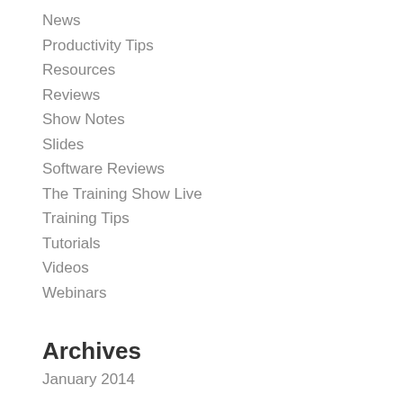News
Productivity Tips
Resources
Reviews
Show Notes
Slides
Software Reviews
The Training Show Live
Training Tips
Tutorials
Videos
Webinars
Archives
January 2014